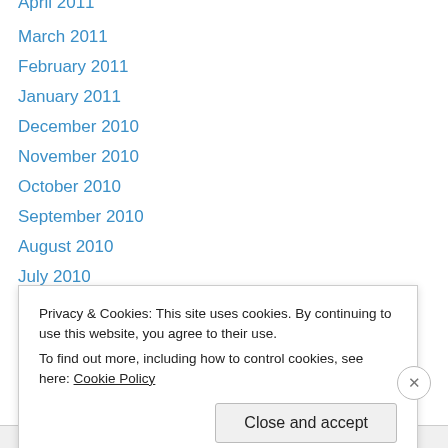April 2011
March 2011
February 2011
January 2011
December 2010
November 2010
October 2010
September 2010
August 2010
July 2010
June 2010
May 2010
April 2010
March 2010
Privacy & Cookies: This site uses cookies. By continuing to use this website, you agree to their use. To find out more, including how to control cookies, see here: Cookie Policy
Close and accept